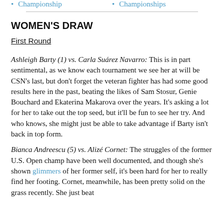Championship
Championships
WOMEN'S DRAW
First Round
Ashleigh Barty (1) vs. Carla Suárez Navarro: This is in part sentimental, as we know each tournament we see her at will be CSN's last, but don't forget the veteran fighter has had some good results here in the past, beating the likes of Sam Stosur, Genie Bouchard and Ekaterina Makarova over the years. It's asking a lot for her to take out the top seed, but it'll be fun to see her try. And who knows, she might just be able to take advantage if Barty isn't back in top form.
Bianca Andreescu (5) vs. Alizé Cornet: The struggles of the former U.S. Open champ have been well documented, and though she's shown glimmers of her former self, it's been hard for her to really find her footing. Cornet, meanwhile, has been pretty solid on the grass recently. She just beat